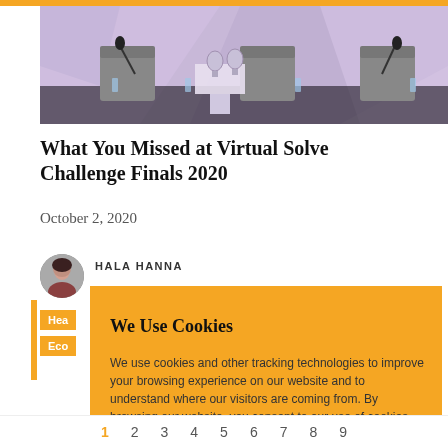[Figure (photo): Stage photo showing chairs, microphones, trophies on a table, with purple/lavender geometric background lighting]
What You Missed at Virtual Solve Challenge Finals 2020
October 2, 2020
HALA HANNA
Hea
Eco
We Use Cookies
We use cookies and other tracking technologies to improve your browsing experience on our website and to understand where our visitors are coming from. By browsing our website, you consent to our use of cookies and other tracking technologies.
ACCEPT
REJECT
1  2  3  4  5  6  7  8  9